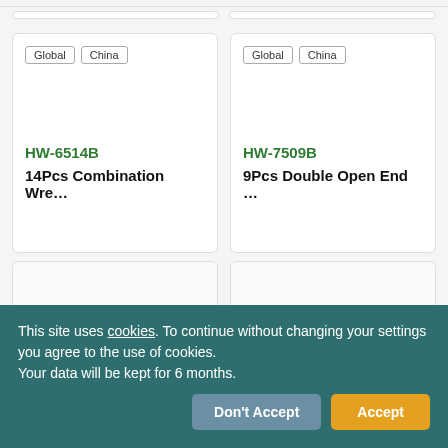[Figure (screenshot): Product card grid showing tool products]
HW-6514B
14Pcs Combination Wre…
HW-7509B
9Pcs Double Open End …
HW-7513B
13Pcs Double Open End…
HW-T21-60340
12Pcs Double T…
This site uses cookies. To continue without changing your settings you agree to the use of cookies. Your data will be kept for 6 months.